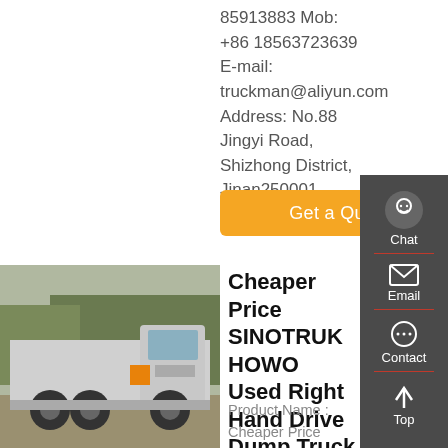85913883 Mob: +86 18563723639 E-mail: truckman@aliyun.com Address: No.88 Jingyi Road, Shizhong District, Jinan250001, China
Get a Quote
[Figure (photo): White SINOTRUK HOWO truck parked outdoors with trees in background]
Cheaper Price SINOTRUK HOWO Used Right Hand Drive Dump Truck For Sale
Product Name : Cheaper Price SINOTRUK HOWO Used Right
[Figure (infographic): Side navigation panel with Chat, Email, Contact, and Top icons on dark grey background]